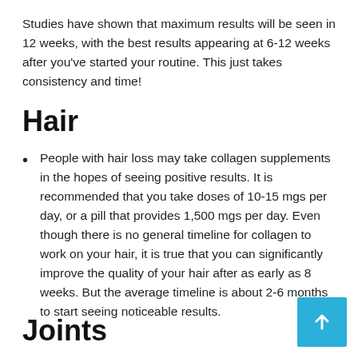Studies have shown that maximum results will be seen in 12 weeks, with the best results appearing at 6-12 weeks after you've started your routine. This just takes consistency and time!
Hair
People with hair loss may take collagen supplements in the hopes of seeing positive results. It is recommended that you take doses of 10-15 mgs per day, or a pill that provides 1,500 mgs per day. Even though there is no general timeline for collagen to work on your hair, it is true that you can significantly improve the quality of your hair after as early as 8 weeks. But the average timeline is about 2-6 months to start seeing noticeable results.
Joints